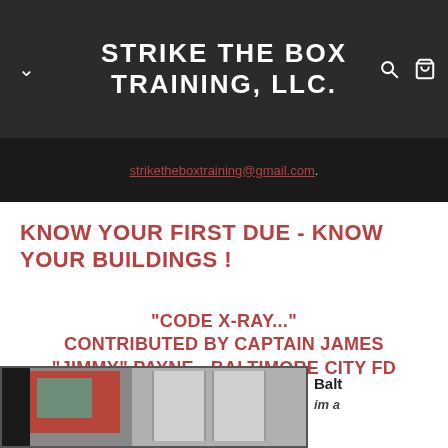STRIKE THE BOX TRAINING, LLC.
striketheboxtraining@gmail.com
KNOW YOUR FIRST DUE - KNOW YOUR BUILDINGS !
"CODE X-RAY..." CONTRIBUTED BY CAPTAIN JAMES "JIMMY" PAYNE - BALTIMORE CITY FD RESCUE 1
[Figure (photo): Photograph of a Baltimore City building facade, partially visible at the bottom of the page. The image shows a brick/masonry building exterior. To the right of the image is partial text 'Balt im a']